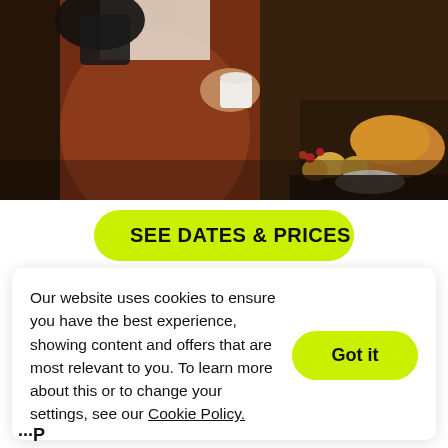[Figure (photo): Person in rust-colored apron pouring coffee into a white mug, with bread, eggs and food items on a dark table in the background]
SEE DATES & PRICES
Our website uses cookies to ensure you have the best experience, showing content and offers that are most relevant to you. To learn more about this or to change your settings, see our Cookie Policy.
Got it
...p